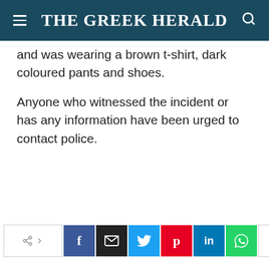THE GREEK HERALD
and was wearing a brown t-shirt, dark coloured pants and shoes.
Anyone who witnessed the incident or has any information have been urged to contact police.
[Figure (other): Social sharing bar with share, Facebook, email, Twitter, Pinterest, LinkedIn, WhatsApp, and plus buttons]